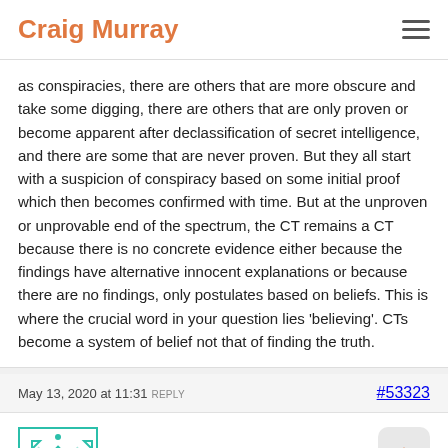Craig Murray
as conspiracies, there are others that are more obscure and take some digging, there are others that are only proven or become apparent after declassification of secret intelligence, and there are some that are never proven. But they all start with a suspicion of conspiracy based on some initial proof which then becomes confirmed with time. But at the unproven or unprovable end of the spectrum, the CT remains a CT because there is no concrete evidence either because the findings have alternative innocent explanations or because there are no findings, only postulates based on beliefs. This is where the crucial word in your question lies 'believing'. CTs become a system of belief not that of finding the truth.
May 13, 2020 at 11:31 REPLY  #53323
Buster